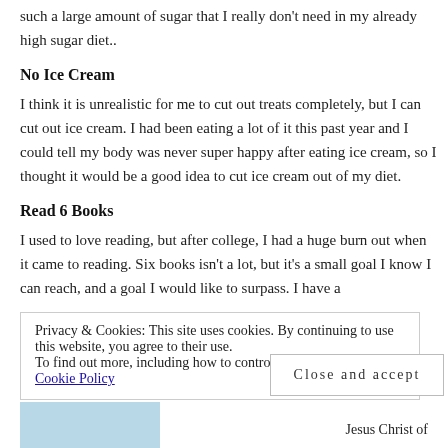such a large amount of sugar that I really don't need in my already high sugar diet..
No Ice Cream
I think it is unrealistic for me to cut out treats completely, but I can cut out ice cream. I had been eating a lot of it this past year and I could tell my body was never super happy after eating ice cream, so I thought it would be a good idea to cut ice cream out of my diet.
Read 6 Books
I used to love reading, but after college, I had a huge burn out when it came to reading. Six books isn't a lot, but it's a small goal I know I can reach, and a goal I would like to surpass. I have a
Privacy & Cookies: This site uses cookies. By continuing to use this website, you agree to their use.
To find out more, including how to control cookies, see here:
Cookie Policy
Close and accept
Jesus Christ of